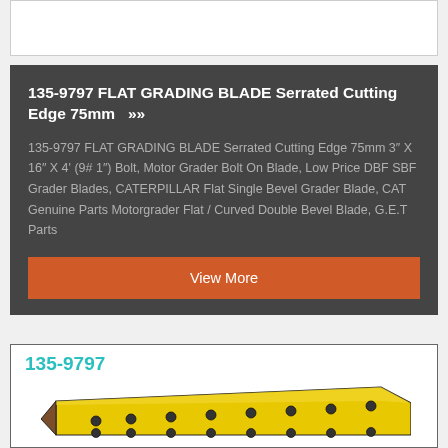[Figure (illustration): Partial white product card visible at top of page]
135-9797 FLAT GRADING BLADE Serrated Cutting Edge 75mm >>
135-9797 FLAT GRADING BLADE Serrated Cutting Edge 75mm 3" X 16" X 4' (9# 1") Bolt, Motor Grader Bolt On Blade, Low Price DBF SBF Grader Blades, CATERPILLAR Flat Single Bevel Grader Blade, CAT Genuine Parts Motorgrader Flat / Curved Double Bevel Blade, G.E.T Parts
View More
135-9797
[Figure (illustration): Yellow flat grading blade shown in 3D perspective view with bolt holes]